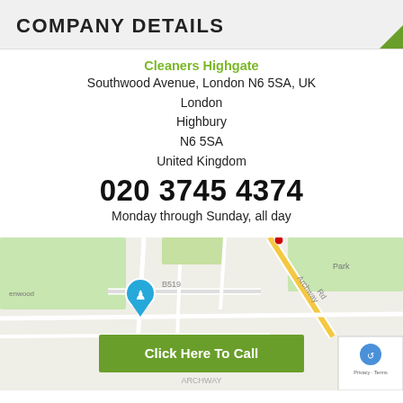COMPANY DETAILS
Cleaners Highgate
Southwood Avenue, London N6 5SA, UK
London
Highbury
N6 5SA
United Kingdom
020 3745 4374
Monday through Sunday, all day
[Figure (map): Google Maps screenshot showing Highgate/Archway area of London with a map pin marker and a green 'Click Here To Call' button overlay. A reCAPTCHA widget appears in the bottom right corner.]